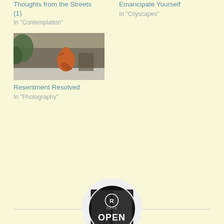Thoughts from the Streets (1)
In "Contemplation"
Emancipate Yourself
In "Cityscapes"
[Figure (photo): Street art image showing a bird-like figure on a weathered concrete wall with green plants]
Resentment Resolved
In "Photography"
[Figure (photo): Circular avatar image showing a black and white photo of a cafe window with OPEN sign and R Cafe logo]